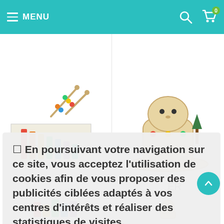MENU
[Figure (screenshot): E-commerce website showing children's wooden toys behind a cookie consent overlay]
☐ En poursuivant votre navigation sur ce site, vous acceptez l'utilisation de cookies afin de vous proposer des publicités ciblées adaptés à vos centres d'intérêts et réaliser des statistiques de visites.
Politique de confidentialité
Accepter